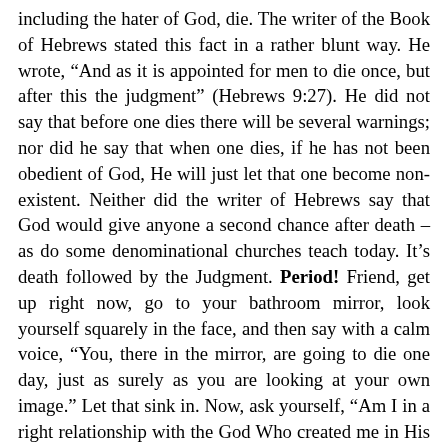including the hater of God, die. The writer of the Book of Hebrews stated this fact in a rather blunt way. He wrote, “And as it is appointed for men to die once, but after this the judgment” (Hebrews 9:27). He did not say that before one dies there will be several warnings; nor did he say that when one dies, if he has not been obedient of God, He will just let that one become non-existent. Neither did the writer of Hebrews say that God would give anyone a second chance after death – as do some denominational churches teach today. It’s death followed by the Judgment. Period! Friend, get up right now, go to your bathroom mirror, look yourself squarely in the face, and then say with a calm voice, “You, there in the mirror, are going to die one day, just as surely as you are looking at your own image.” Let that sink in. Now, ask yourself, “Am I in a right relationship with the God Who created me in His image, or am I at this point in life one who has not been obedient to the Creator?”